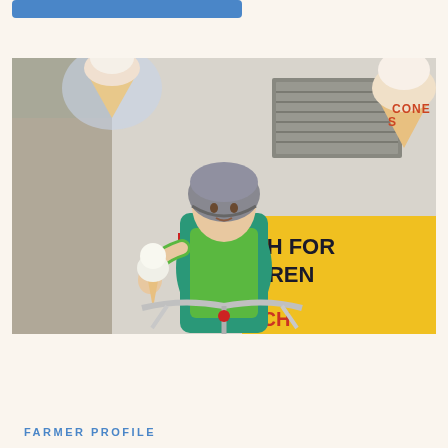[Figure (photo): Child wearing a teal furry costume and a bicycle helmet, riding a bike and holding an ice cream cone, in front of an ice cream truck with signage including 'CONES' and partial text 'SH FOR DREN ICH']
FARMER PROFILE